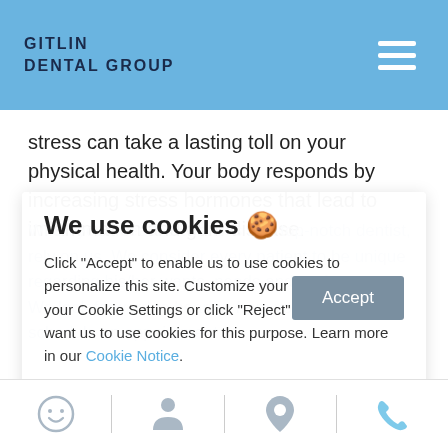GITLIN DENTAL GROUP
stress can take a lasting toll on your physical health. Your body responds by increasing stress hormones that lead to inflammation and gum disease.
When you need the services of a top-notch dentist, rely on us. We consider every patient to be unique regarding his/her wants, needs and preferences. We look forward to hearing from you and hope to schedule an appointment.
We use cookies 🍪
Click "Accept" to enable us to use cookies to personalize this site. Customize your preferences in your Cookie Settings or click "Reject" if you do not want us to use cookies for this purpose. Learn more in our Cookie Notice.
Cookies settings
Accept